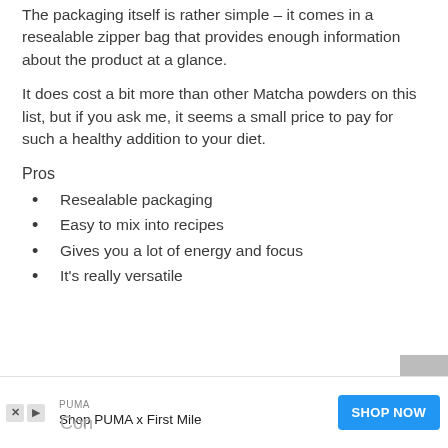The packaging itself is rather simple – it comes in a resealable zipper bag that provides enough information about the product at a glance.
It does cost a bit more than other Matcha powders on this list, but if you ask me, it seems a small price to pay for such a healthy addition to your diet.
Pros
Resealable packaging
Easy to mix into recipes
Gives you a lot of energy and focus
It's really versatile